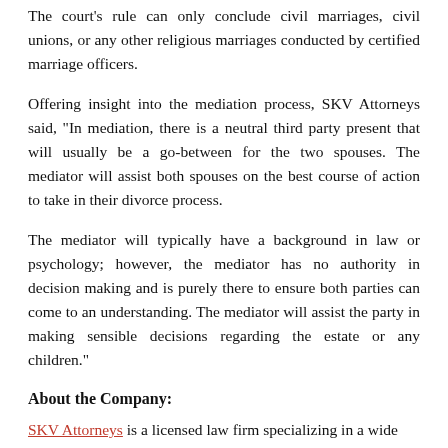The court's rule can only conclude civil marriages, civil unions, or any other religious marriages conducted by certified marriage officers.
Offering insight into the mediation process, SKV Attorneys said, "In mediation, there is a neutral third party present that will usually be a go-between for the two spouses. The mediator will assist both spouses on the best course of action to take in their divorce process.
The mediator will typically have a background in law or psychology; however, the mediator has no authority in decision making and is purely there to ensure both parties can come to an understanding. The mediator will assist the party in making sensible decisions regarding the estate or any children."
About the Company:
SKV Attorneys is a licensed law firm specializing in a wide